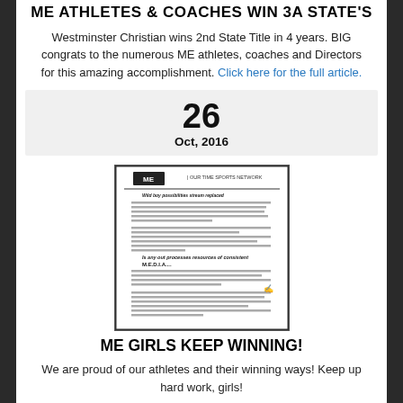ME ATHLETES & COACHES WIN 3A STATE'S
Westminster Christian wins 2nd State Title in 4 years. BIG congrats to the numerous ME athletes, coaches and Directors for this amazing accomplishment. Click here for the full article.
26 Oct, 2016
[Figure (photo): Small thumbnail image of a document/newsletter page with ME logo at top]
ME GIRLS KEEP WINNING!
We are proud of our athletes and their winning ways! Keep up hard work, girls!
20 Oct, 2016
[Figure (photo): Small thumbnail image of a document/newsletter page with ME logo at top]